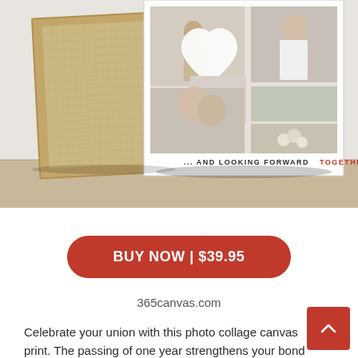[Figure (photo): Product photo of a wedding photo collage canvas print leaning against a wall. The canvas shows multiple wedding photos arranged in a heart-shaped collage with the text '... AND LOOKING FORWARD TOGETHER'. A wooden frame canvas is also visible leaning beside it.]
BUY NOW | $39.95
365canvas.com
Celebrate your union with this photo collage can... print. The passing of one year strengthens your bond...